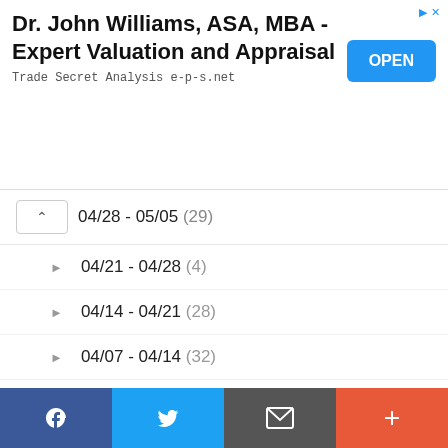[Figure (screenshot): Advertisement banner for Dr. John Williams, ASA, MBA - Expert Valuation and Appraisal, Trade Secret Analysis e-p-s.net, with blue OPEN button]
04/28 - 05/05 (29)
04/21 - 04/28 (4)
04/14 - 04/21 (28)
04/07 - 04/14 (32)
03/31 - 04/07 (20)
03/24 - 03/31 (33)
03/17 - 03/24 (1)
03/10 - 03/17 (24)
03/03 - 03/10 (26)